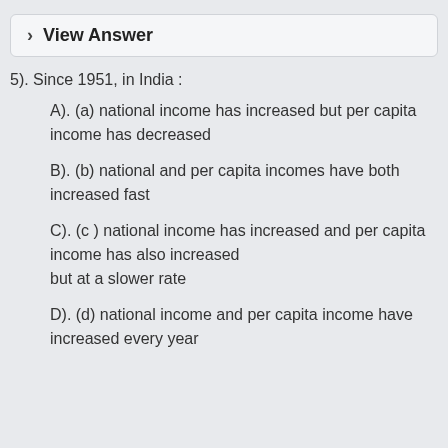View Answer
5). Since 1951, in India :
A). (a) national income has increased but per capita income has decreased
B). (b) national and per capita incomes have both increased fast
C). (c ) national income has increased and per capita income has also increased but at a slower rate
D). (d) national income and per capita income have increased every year